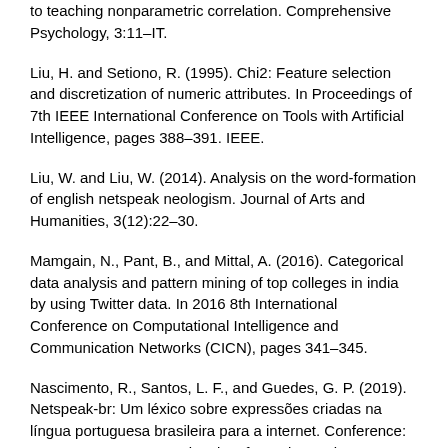to teaching nonparametric correlation. Comprehensive Psychology, 3:11–IT.
Liu, H. and Setiono, R. (1995). Chi2: Feature selection and discretization of numeric attributes. In Proceedings of 7th IEEE International Conference on Tools with Artificial Intelligence, pages 388–391. IEEE.
Liu, W. and Liu, W. (2014). Analysis on the word-formation of english netspeak neologism. Journal of Arts and Humanities, 3(12):22–30.
Mamgain, N., Pant, B., and Mittal, A. (2016). Categorical data analysis and pattern mining of top colleges in india by using Twitter data. In 2016 8th International Conference on Computational Intelligence and Communication Networks (CICN), pages 341–345.
Nascimento, R., Santos, L. F., and Guedes, G. P. (2019). Netspeak-br: Um léxico sobre expressões criadas na língua portuguesa brasileira para a internet. Conference: STIL 2019 - XII Symposium in Information and Human Language Technology At: Salvador, BA, Brazil.